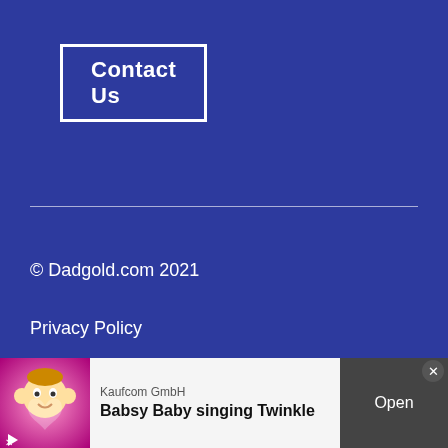Contact Us
© Dadgold.com 2021
Privacy Policy
[Figure (screenshot): Advertisement banner for 'Babsy Baby singing Twinkle' by Kaufcom GmbH, with a cartoon baby image on pink background, and an Open button on the right.]